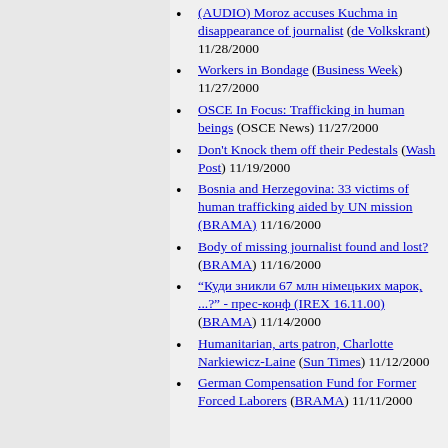(AUDIO) Moroz accuses Kuchma in disappearance of journalist (de Volkskrant) 11/28/2000
Workers in Bondage (Business Week) 11/27/2000
OSCE In Focus: Trafficking in human beings (OSCE News) 11/27/2000
Don't Knock them off their Pedestals (Wash Post) 11/19/2000
Bosnia and Herzegovina: 33 victims of human trafficking aided by UN mission (BRAMA) 11/16/2000
Body of missing journalist found and lost? (BRAMA) 11/16/2000
“Куди зникли 67 млн німецьких марок, ...?” - прес-конф (IREX 16.11.00) (BRAMA) 11/14/2000
Humanitarian, arts patron, Charlotte Narkiewicz-Laine (Sun Times) 11/12/2000
German Compensation Fund for Former Forced Laborers (BRAMA) 11/11/2000